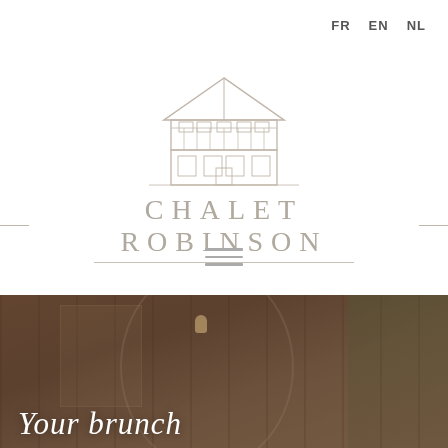FR  EN  NL
[Figure (logo): Chalet Robinson logo with illustrated chalet building above text reading CHALET ROBINSON, with horizontal lines flanking the text]
[Figure (other): Hamburger menu icon (three horizontal lines)]
[Figure (photo): Interior photo of Chalet Robinson restaurant with warm wooden interior, a hanging globe light, large windows, and lush green plants, with the text 'Your brunch' overlaid in white italic script.]
Your brunch